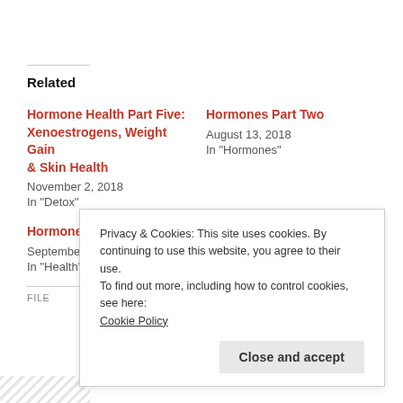Related
Hormone Health Part Five: Xenoestrogens, Weight Gain & Skin Health
November 2, 2018
In "Detox"
Hormones Part Two
August 13, 2018
In "Hormones"
Hormone Health Part Three
September 23, 2018
In "Health"
Privacy & Cookies: This site uses cookies. By continuing to use this website, you agree to their use.
To find out more, including how to control cookies, see here:
Cookie Policy
Close and accept